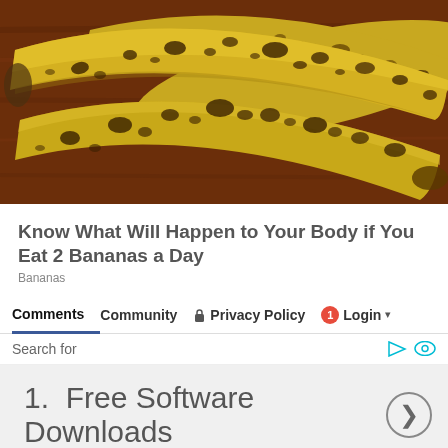[Figure (photo): Close-up photo of three overripe bananas with heavy brown spotting on yellow skin, resting on a dark wood surface]
Know What Will Happen to Your Body if You Eat 2 Bananas a Day
Bananas
Comments   Community   Privacy Policy   1   Login
Search for
1.  Free Software Downloads
LOG IN WITH